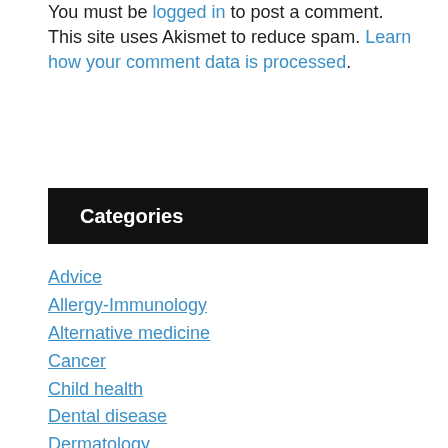You must be logged in to post a comment. This site uses Akismet to reduce spam. Learn how your comment data is processed.
Categories
Advice
Allergy-Immunology
Alternative medicine
Cancer
Child health
Dental disease
Dermatology
Diet-Nutrition
Endocrinology
Eye-Ear-Nose